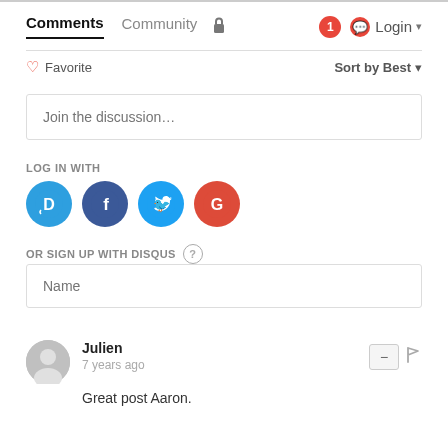Comments  Community  🔒  Login
♡ Favorite    Sort by Best ▾
Join the discussion…
LOG IN WITH
[Figure (logo): Four social login icons: Disqus (blue D), Facebook (dark blue f), Twitter (blue bird), Google (red G)]
OR SIGN UP WITH DISQUS ?
Name
Julien
7 years ago
Great post Aaron.